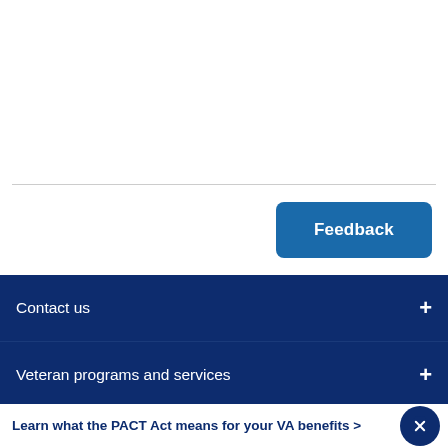Feedback
Contact us
Veteran programs and services
More VA resources
Learn what the PACT Act means for your VA benefits >